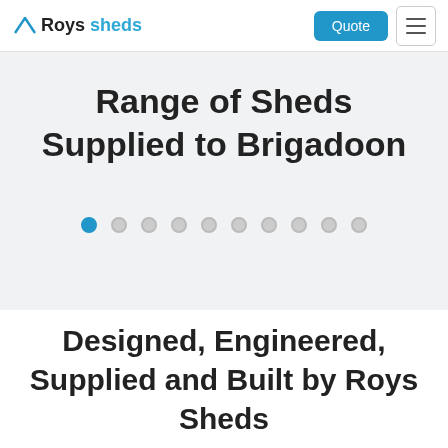Roys sheds | Quote
Range of Sheds Supplied to Brigadoon
[Figure (other): Carousel pagination dots with first dot active (blue) and nine inactive (grey)]
Designed, Engineered, Supplied and Built by Roys Sheds